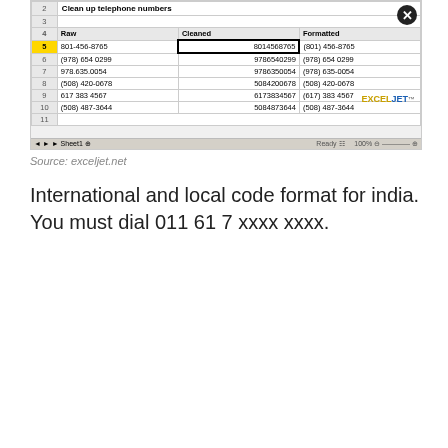[Figure (screenshot): Excel spreadsheet screenshot showing 'Clean up telephone numbers' with columns Raw, Cleaned, Formatted and rows of phone numbers including 801-456-8765, (978) 654 0299, 978.635.0054, (508) 420-0678, 617 383 4567, (508) 487-3644. Row 5 is highlighted in yellow. Has EXCELJET logo watermark.]
Source: exceljet.net
International and local code format for india. You must dial 011 61 7 xxxx xxxx.
[Figure (screenshot): Form builder interface screenshot showing toolbar with Save, Preview, Undo, Redo, Label Align, Required, Input Mask, Verb Value, Hover Text, Hot Example buttons. Left sidebar with Form Tools, Quick Tools, Survey Tools, Payment Tools, Widgets sections and Phone search with Phone Picker and International Telephone Picker items. Right panel shows Properties: Phone Number tab with Phone Number field (Country Code, Area Code, Phone Number), Phone Number mask field with asterisks, and Phone Picker with 'please select country' dropdown. Arrow pointing to Phone Picker.]